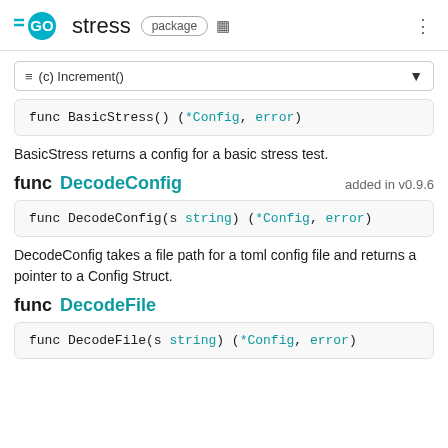GO stress package
≡ (c) Increment()
func BasicStress() (*Config, error)
BasicStress returns a config for a basic stress test.
func DecodeConfig    added in v0.9.6
func DecodeConfig(s string) (*Config, error)
DecodeConfig takes a file path for a toml config file and returns a pointer to a Config Struct.
func DecodeFile
func DecodeFile(s string) (*Config, error)